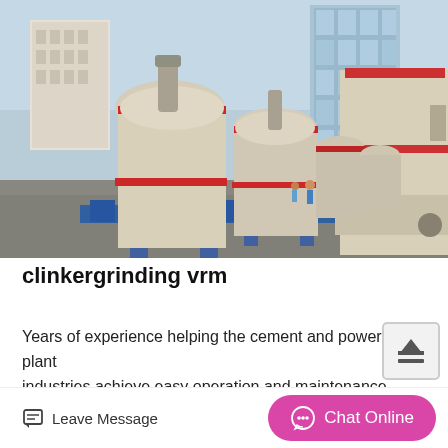[Figure (photo): Outdoor industrial yard with multiple large cream/white vertical grinding mill machines (VRM - vertical roller mills) lined up on blue steel frames, with factory buildings and a multi-story glass office building in the background.]
clinkergrinding vrm
Years of experience helping the cement and power plant industries achieve easy operation and maintenance, energy efficiency and cost savings underpin our expertl
Leave Message   Chat Online